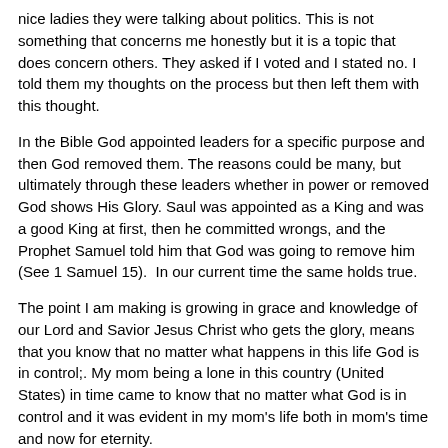nice ladies they were talking about politics. This is not something that concerns me honestly but it is a topic that does concern others. They asked if I voted and I stated no. I told them my thoughts on the process but then left them with this thought.
In the Bible God appointed leaders for a specific purpose and then God removed them. The reasons could be many, but ultimately through these leaders whether in power or removed God shows His Glory. Saul was appointed as a King and was a good King at first, then he committed wrongs, and the Prophet Samuel told him that God was going to remove him (See 1 Samuel 15).  In our current time the same holds true.
The point I am making is growing in grace and knowledge of our Lord and Savior Jesus Christ who gets the glory, means that you know that no matter what happens in this life God is in control;. My mom being a lone in this country (United States) in time came to know that no matter what God is in control and it was evident in my mom's life both in mom's time and now for eternity.
Home soon...